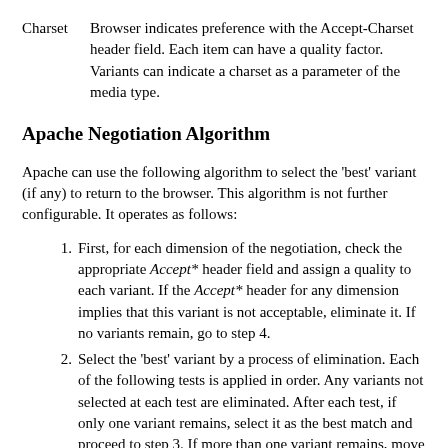Charset   Browser indicates preference with the Accept-Charset header field. Each item can have a quality factor. Variants can indicate a charset as a parameter of the media type.
Apache Negotiation Algorithm
Apache can use the following algorithm to select the 'best' variant (if any) to return to the browser. This algorithm is not further configurable. It operates as follows:
First, for each dimension of the negotiation, check the appropriate Accept* header field and assign a quality to each variant. If the Accept* header for any dimension implies that this variant is not acceptable, eliminate it. If no variants remain, go to step 4.
Select the 'best' variant by a process of elimination. Each of the following tests is applied in order. Any variants not selected at each test are eliminated. After each test, if only one variant remains, select it as the best match and proceed to step 3. If more than one variant remains, move on to the next test.
Multiply the quality factor from the Accept header with the quality-of-source factor for this variant's